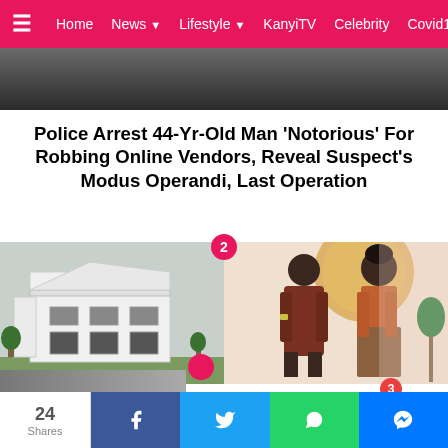Home  News  Lifestyle  KanyiTV  Celebrity  Covid1
[Figure (photo): Top partial image, cropped at bottom of page]
Police Arrest 44-Yr-Old Man 'Notorious' For Robbing Online Vendors, Reveal Suspect's Modus Operandi, Last Operation
[Figure (photo): Split image: left shows a white modern multi-story building/mansion; right shows a couple (man in orange outfit, woman in orange and patterned dress) posing together. Badge number 2 overlays the center top.]
Nosa Rex Buys Luxurious Mansion As He Celebrates 7th Wedding Anniversary With Wife
[Figure (photo): Partially visible third story image at the very bottom with badge number overlay]
24 Shares  [Facebook] [Twitter] [WhatsApp] [Messenger]  [Notification bell - 3]